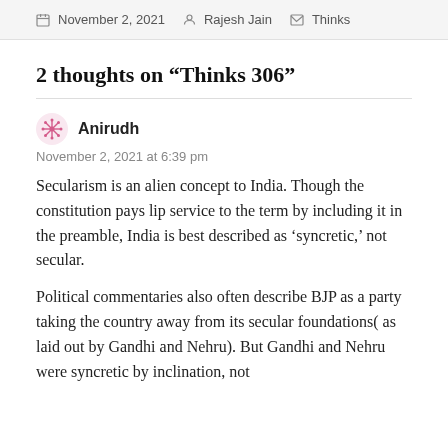November 2, 2021  Rajesh Jain  Thinks
2 thoughts on “Thinks 306”
Anirudh
November 2, 2021 at 6:39 pm
Secularism is an alien concept to India. Though the constitution pays lip service to the term by including it in the preamble, India is best described as ‘syncretic,’ not secular.
Political commentaries also often describe BJP as a party taking the country away from its secular foundations( as laid out by Gandhi and Nehru). But Gandhi and Nehru were syncretic by inclination, not